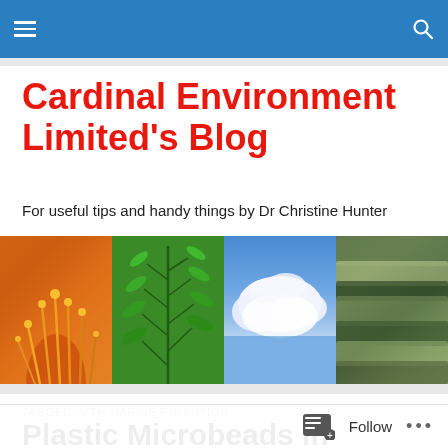Cardinal Environment Limited's Blog navigation bar
Cardinal Environment Limited's Blog
For useful tips and handy things by Dr Christine Hunter
[Figure (photo): Four nature photos side by side: orange flower stamens, green fern fronds, blue sky with white clouds, and blurred green water/grass]
TAGGED WITH MARINE POLLUTION
Plastic Microbeads in Cosmetics Ban (UK)